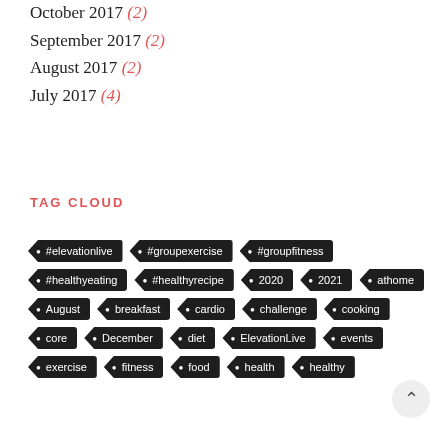October 2017 (2)
September 2017 (2)
August 2017 (2)
July 2017 (4)
TAG CLOUD
#elevationlive
#groupexercise
#groupfitness
#healthyeating
#healthyrecipe
2020
2021
athome
August
breakfast
cardio
challenge
cooking
core
December
diet
ElevationLive
events
exercise
fitness
food
health
healthy